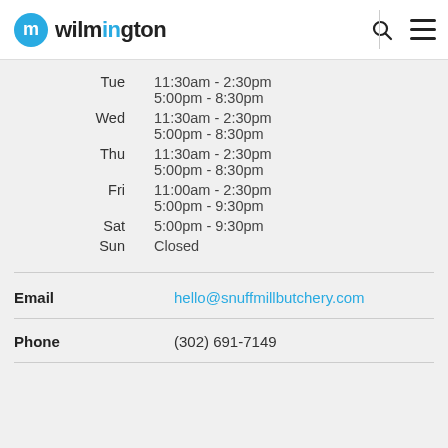m wilmington
| Day | Hours |
| --- | --- |
| Tue | 11:30am - 2:30pm |
|  | 5:00pm - 8:30pm |
| Wed | 11:30am - 2:30pm |
|  | 5:00pm - 8:30pm |
| Thu | 11:30am - 2:30pm |
|  | 5:00pm - 8:30pm |
| Fri | 11:00am - 2:30pm |
|  | 5:00pm - 9:30pm |
| Sat | 5:00pm - 9:30pm |
| Sun | Closed |
Email  hello@snuffmillbutchery.com
Phone  (302) 691-7149